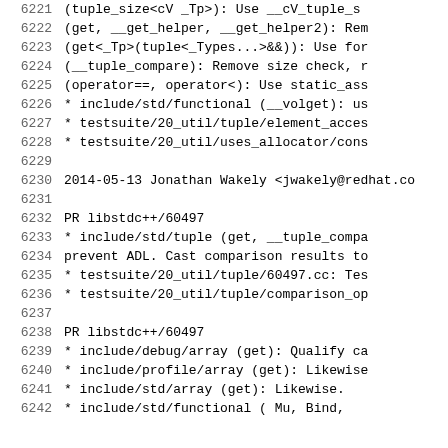6221     (tuple_size<cV _Tp>): Use __cV_tuple_s
6222     (get, __get_helper, __get_helper2): Rem
6223     (get<_Tp>(tuple<_Types...>&&)): Use for
6224     (__tuple_compare): Remove size check, r
6225     (operator==, operator<): Use static_ass
6226     * include/std/functional (__volget): us
6227     * testsuite/20_util/tuple/element_acces
6228     * testsuite/20_util/uses_allocator/cons
6229
6230  2014-05-13  Jonathan Wakely  <jwakely@redhat.co
6231
6232     PR libstdc++/60497
6233     * include/std/tuple (get, __tuple_compa
6234     prevent ADL. Cast comparison results to
6235     * testsuite/20_util/tuple/60497.cc: Tes
6236     * testsuite/20_util/tuple/comparison_op
6237
6238     PR libstdc++/60497
6239     * include/debug/array (get): Qualify ca
6240     * include/profile/array (get): Likewise
6241     * include/std/array (get): Likewise.
6242     * include/std/functional ( Mu, Bind,